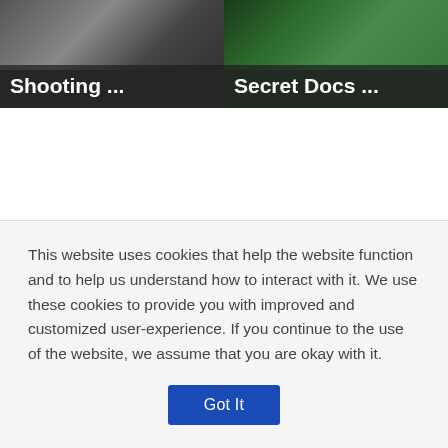[Figure (screenshot): Two news article thumbnail cards side by side. Left card shows a dark scene with text 'Shooting ...' overlaid at the bottom. Right card shows a green/outdoor scene with text 'Secret Docs ...' overlaid at the bottom.]
This website uses cookies that help the website function and to help us understand how to interact with it. We use these cookies to provide you with improved and customized user-experience. If you continue to the use of the website, we assume that you are okay with it.
Got It